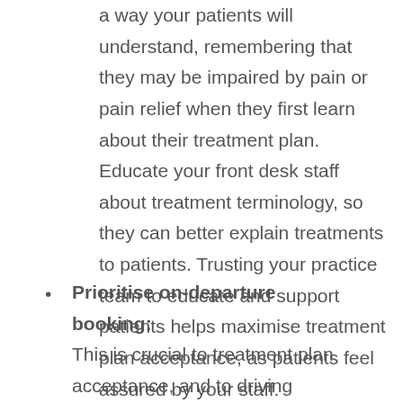a way your patients will understand, remembering that they may be impaired by pain or pain relief when they first learn about their treatment plan. Educate your front desk staff about treatment terminology, so they can better explain treatments to patients. Trusting your practice team to educate and support patients helps maximise treatment plan acceptance, as patients feel assured by your staff.
Prioritise on-departure booking: This is crucial to treatment plan acceptance, and to driving practice revenue. Establish our best-practice procedure of checking a patient's contact details and booking their next